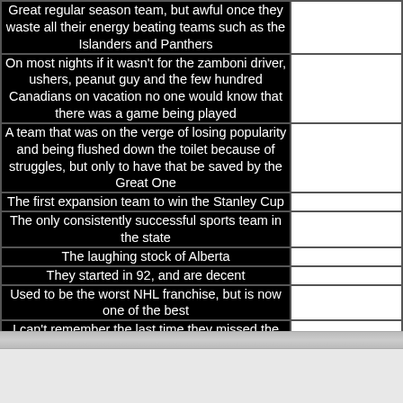Great regular season team, but awful once they waste all their energy beating teams such as the Islanders and Panthers
On most nights if it wasn't for the zamboni driver, ushers, peanut guy and the few hundred Canadians on vacation no one would know that there was a game being played
A team that was on the verge of losing popularity and being flushed down the toilet because of struggles, but only to have that be saved by the Great One
The first expansion team to win the Stanley Cup
The only consistently successful sports team in the state
The laughing stock of Alberta
They started in 92, and are decent
Used to be the worst NHL franchise, but is now one of the best
I can't remember the last time they missed the playoffs